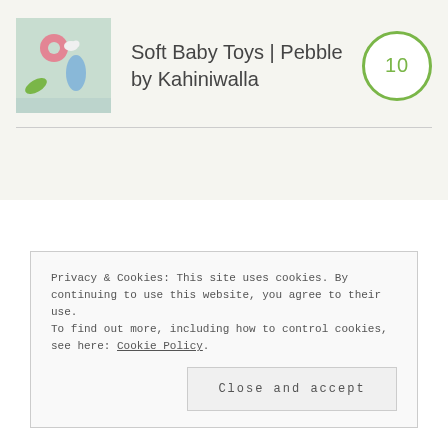[Figure (photo): Product card with image of soft baby toys and a score badge of 10 in green circle]
Soft Baby Toys | Pebble by Kahiniwalla
Privacy & Cookies: This site uses cookies. By continuing to use this website, you agree to their use.
To find out more, including how to control cookies, see here: Cookie Policy
Close and accept